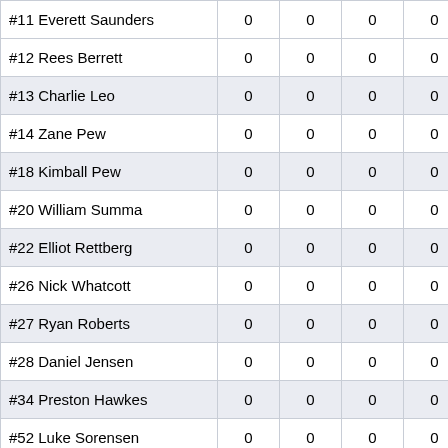| Player |  |  |  |  | Player |
| --- | --- | --- | --- | --- | --- |
| #11 Everett Saunders | 0 | 0 | 0 | 0 | #12 Cooper Ale… |
| #12 Rees Berrett | 0 | 0 | 0 | 0 | #15 Sam Stockh… |
| #13 Charlie Leo | 0 | 0 | 0 | 0 | #17 Mathias Cra… |
| #14 Zane Pew | 0 | 0 | 0 | 0 | #19 Anton Gres… |
| #18 Kimball Pew | 0 | 0 | 0 | 0 | #21 Zachary Ce… |
| #20 William Summa | 0 | 0 | 0 | 0 | #22 Aaron Stett… |
| #22 Elliot Rettberg | 0 | 0 | 0 | 0 | #25 Kyle West… |
| #26 Nick Whatcott | 0 | 0 | 0 | 0 | #26 Dominic Re… |
| #27 Ryan Roberts | 0 | 0 | 0 | 0 | #28 Ryan Walle… |
| #28 Daniel Jensen | 0 | 0 | 0 | 0 | #35 Henry Lyne… |
| #34 Preston Hawkes | 0 | 0 | 0 | 0 | #41 Soren Scho… |
| #52 Luke Sorensen | 0 | 0 | 0 | 0 | #42 Jonathan S… |
| #79 Jake Owen | 0 | 0 | 0 | 0 | #43 Jack Larso… |